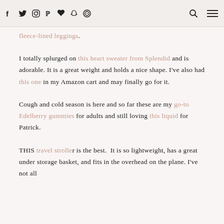Social media icons (f, twitter, instagram, pinterest, heart, snapchat, circle icon), search icon, menu icon
fleece-lined leggings.
I totally splurged on this heart sweater from Splendid and is adorable. It is a great weight and holds a nice shape. I've also had this one in my Amazon cart and may finally go for it.
Cough and cold season is here and so far these are my go-to Edelberry gummies for adults and still loving this liquid for Patrick.
THIS travel stroller is the best. It is so lightweight, has a great under storage basket, and fits in the overhead on the plane. I've not all...